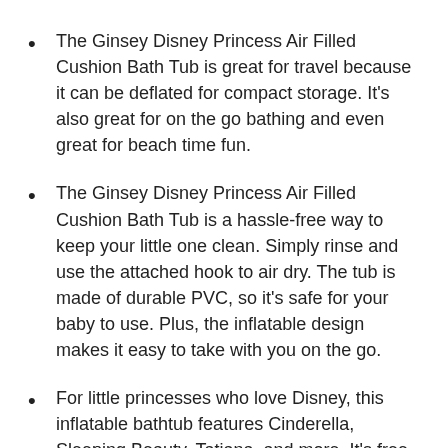The Ginsey Disney Princess Air Filled Cushion Bath Tub is great for travel because it can be deflated for compact storage. It's also great for on the go bathing and even great for beach time fun.
The Ginsey Disney Princess Air Filled Cushion Bath Tub is a hassle-free way to keep your little one clean. Simply rinse and use the attached hook to air dry. The tub is made of durable PVC, so it's safe for your baby to use. Plus, the inflatable design makes it easy to take with you on the go.
For little princesses who love Disney, this inflatable bathtub features Cinderella, Sleeping Beauty, Tatiana, and more. It's free standing and portable, making it great for taking on the go. Plus, it's safe for baby and toddler bathing.